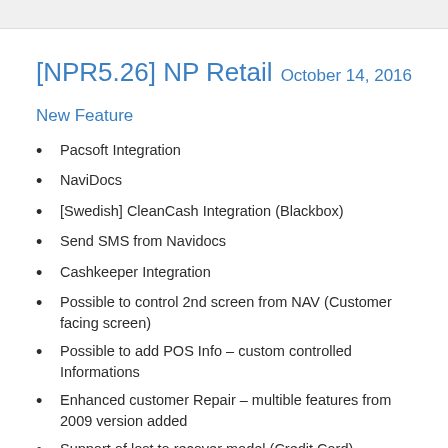[NPR5.26] NP Retail    October 14, 2016
New Feature
Pacsoft Integration
NaviDocs
[Swedish] CleanCash Integration (Blackbox)
Send SMS from Navidocs
Cashkeeper Integration
Possible to control 2nd screen from NAV (Customer facing screen)
Possible to add POS Info – custom controlled Informations
Enhanced customer Repair – multible features from 2009 version added
Support of lost to recover model (Credit Card)